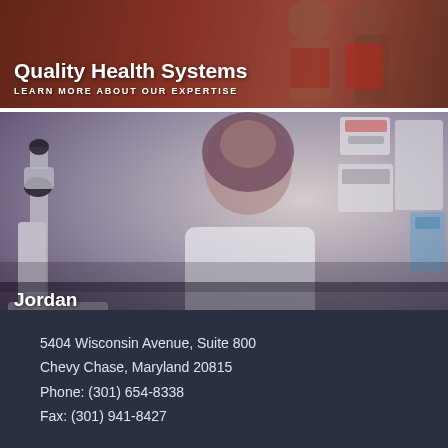[Figure (photo): Photo background of people, possibly medical/conference setting, with overlay text 'Quality Health Systems' and 'LEARN MORE ABOUT OUR EXPERTISE']
Quality Health Systems
LEARN MORE ABOUT OUR EXPERTISE
[Figure (photo): Photo of a woman wearing a hijab in a white lab coat seated at a microscope in a laboratory setting, with overlay text 'Jordan' and 'LEARN MORE ABOUT OUR WORK']
Jordan
LEARN MORE ABOUT OUR WORK
5404 Wisconsin Avenue, Suite 800
Chevy Chase, Maryland 20815
Phone: (301) 654-8338
Fax: (301) 941-8427